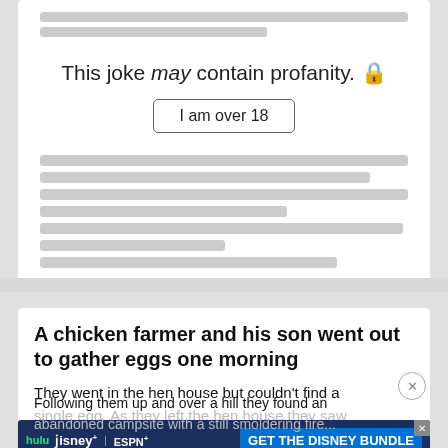[Figure (screenshot): Top white card with blurred/redacted bars at top, then centered text reading 'This joke may contain profanity.' with an 'I am over 18' button, followed by more blurred content blocks below]
This joke may contain profanity. 🔒
I am over 18
A chicken farmer and his son went out to gather eggs one morning
They went in the hen house but couldn't find a single egg. As they left the hen house they saw several sets of footprints leading away from the roost...
[Figure (screenshot): Disney Bundle advertisement banner with Hulu, Disney+, ESPN+ logos and 'GET THE DISNEY BUNDLE' button in blue. Fine print below: 'Incl. Hulu (ad-supported) or Hulu (No Ads). Access content from each service separately. ©2021 Disney and its related entities']
Following them up and over a hill they found an abandoned campsite with a still smoldering fire...